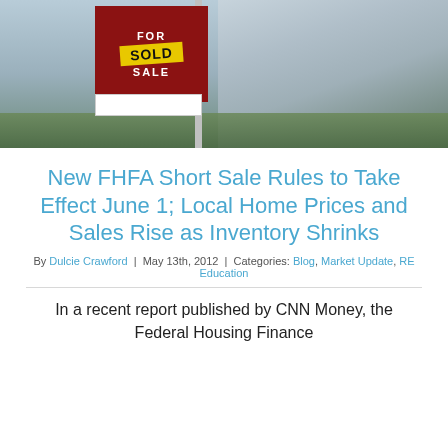[Figure (photo): Photo of a house with a red 'For Sale' sign showing a yellow 'SOLD' banner overlaid, in front of a residential home with green lawn and blurred background.]
New FHFA Short Sale Rules to Take Effect June 1; Local Home Prices and Sales Rise as Inventory Shrinks
By Dulcie Crawford | May 13th, 2012 | Categories: Blog, Market Update, RE Education
In a recent report published by CNN Money, the Federal Housing Finance